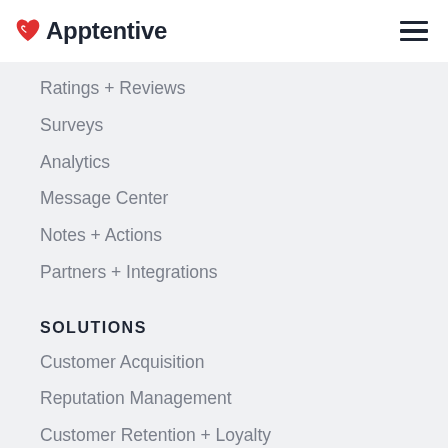Apptentive
Ratings + Reviews
Surveys
Analytics
Message Center
Notes + Actions
Partners + Integrations
SOLUTIONS
Customer Acquisition
Reputation Management
Customer Retention + Loyalty
Product/App Roadmap
Customer Retargeting
Employee Experience